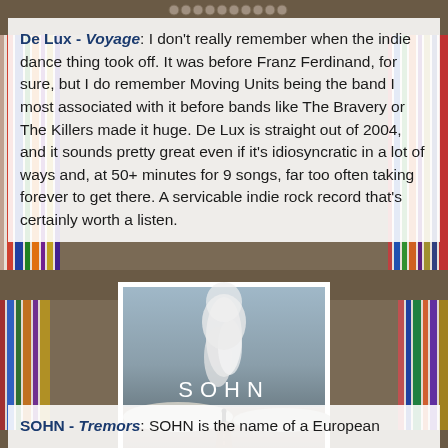De Lux - Voyage: I don't really remember when the indie dance thing took off. It was before Franz Ferdinand, for sure, but I do remember Moving Units being the band I most associated with it before bands like The Bravery or The Killers made it huge. De Lux is straight out of 2004, and it sounds pretty great even if it's idiosyncratic in a lot of ways and, at 50+ minutes for 9 songs, far too often taking forever to get there. A servicable indie rock record that's certainly worth a listen.
[Figure (illustration): Album cover for SOHN - Tremors. Shows a person standing on a road leading toward a geyser or steam plume rising into a cloudy sky, in a stark wintry landscape. The word SOHN is displayed prominently in white capital letters in the center of the image.]
SOHN - Tremors: SOHN is the name of a European